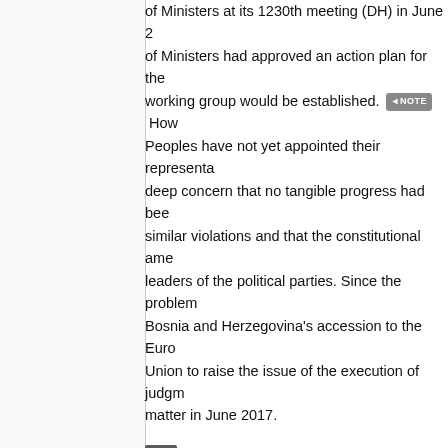of Ministers at its 1230th meeting (DH) in June 2... of Ministers had approved an action plan for the... working group would be established. NOTE How... Peoples have not yet appointed their representa... deep concern that no tangible progress had bee... similar violations and that the constitutional ame... leaders of the political parties. Since the problem... Bosnia and Herzegovina's accession to the Euro... Union to raise the issue of the execution of judgm... matter in June 2017.
31. The subject is also being considered by t... number of occasions that implementation of the... amend its Constitution (see, in particular, its Res...
4.2.3. Paksas v. Lithuania
32. In the Paksas v. Lithuania case, the Cour... permanent and irreversible nature of his disquali... office; the applicant's removal followed impeach... 2004 and the Law on Elections to the Seimas of... authorities to take steps to put an end to the vi...